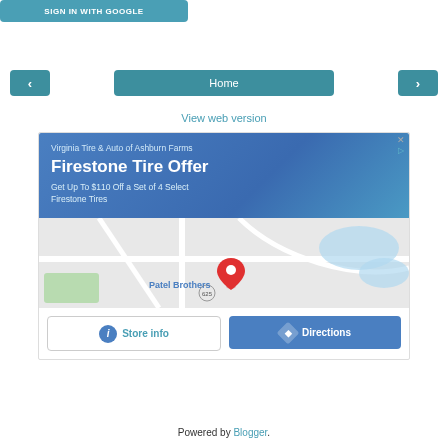[Figure (screenshot): Sign in with Google button — teal rounded rectangle with white uppercase text]
[Figure (screenshot): Navigation row with left arrow button, Home button, and right arrow button, all teal]
View web version
[Figure (screenshot): Google ad for Virginia Tire & Auto of Ashburn Farms — Firestone Tire Offer, Get Up To $110 Off a Set of 4 Select Firestone Tires. Blue banner with map showing Patel Brothers location. Store info and Directions buttons.]
Powered by Blogger.